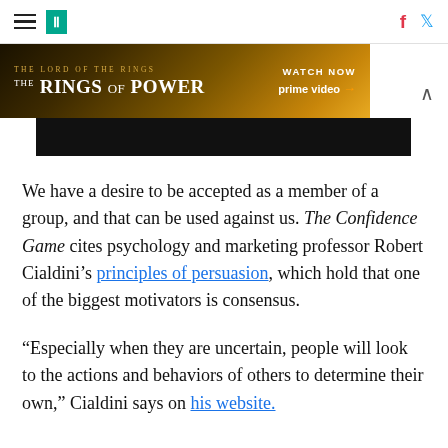HuffPost navigation with hamburger menu, logo, facebook and twitter icons
[Figure (other): Advertisement banner for The Lord of the Rings: The Rings of Power on Amazon Prime Video — gold/dark themed banner with 'WATCH NOW prime video' text and chevron dismiss button, with a dark image strip below]
We have a desire to be accepted as a member of a group, and that can be used against us. The Confidence Game cites psychology and marketing professor Robert Cialdini’s principles of persuasion, which hold that one of the biggest motivators is consensus.
“Especially when they are uncertain, people will look to the actions and behaviors of others to determine their own,” Cialdini says on his website.